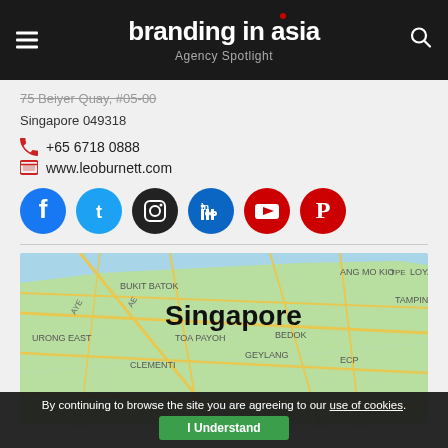branding in asia — Agency Spotlight
75 Beiyer Quay, #05-00
Singapore 049318
+65 6718 0888
www.leoburnett.com
[Figure (infographic): Social media icons row: Facebook, Twitter, Instagram, LinkedIn, YouTube, Pinterest]
[Figure (map): Google Maps screenshot showing Singapore with neighborhoods: Ang Mo Kio, Bukit Batok, Loyang, Tampines, Toa Payoh, Geylang, Bedok, Clementi, Jurong East, ECP]
By continuing to browse the site you are agreeing to our use of cookies. I Understand